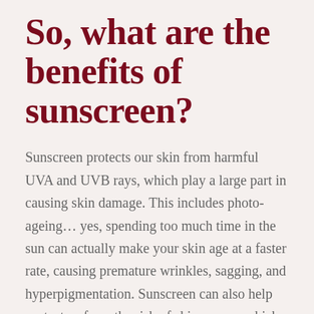So, what are the benefits of sunscreen?
Sunscreen protects our skin from harmful UVA and UVB rays, which play a large part in causing skin damage. This includes photo-ageing… yes, spending too much time in the sun can actually make your skin age at a faster rate, causing premature wrinkles, sagging, and hyperpigmentation. Sunscreen can also help protect us from the risk of skin cancer, which can occur due to over-exposure to the sun, without adequate protection. Painful sunburns can also be avoided when